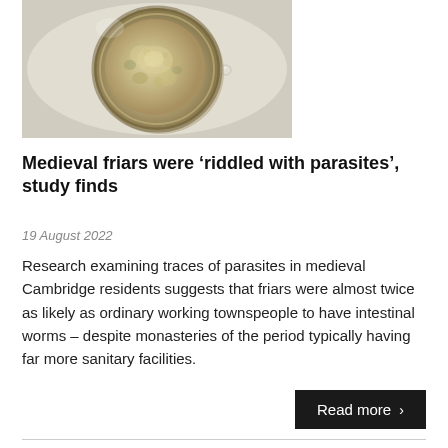[Figure (photo): Microscope image of a parasite egg — a roughly circular, thick-walled ovum viewed under light microscopy, showing internal granular content, on a light background.]
Medieval friars were 'riddled with parasites', study finds
19 August 2022
Research examining traces of parasites in medieval Cambridge residents suggests that friars were almost twice as likely as ordinary working townspeople to have intestinal worms – despite monasteries of the period typically having far more sanitary facilities.
Read more >